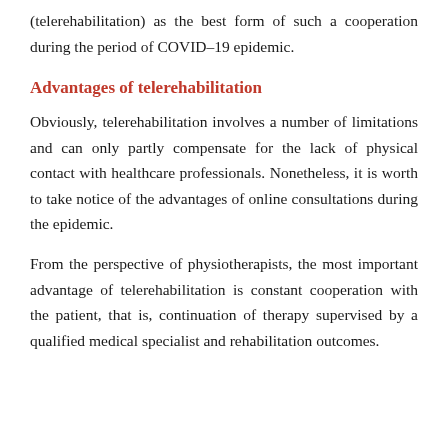(telerehabilitation) as the best form of such a cooperation during the period of COVID-19 epidemic.
Advantages of telerehabilitation
Obviously, telerehabilitation involves a number of limitations and can only partly compensate for the lack of physical contact with healthcare professionals. Nonetheless, it is worth to take notice of the advantages of online consultations during the epidemic.
From the perspective of physiotherapists, the most important advantage of telerehabilitation is constant cooperation with the patient, that is, continuation of therapy supervised by a qualified medical specialist and rehabilitation outcomes.